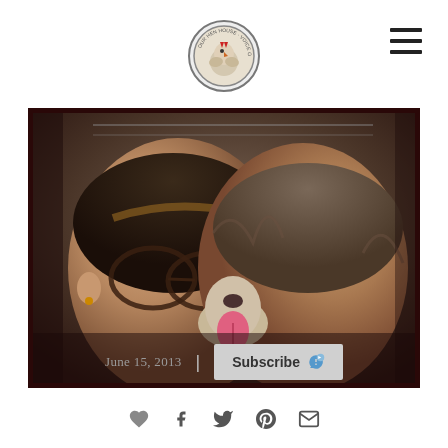[Figure (logo): Circular logo with rooster/hen illustration and text around the border]
[Figure (photo): Two women with eyes closed, cheeks pressed together, a dog licking between them. Appears to be a selfie-style photo taken outdoors.]
June 15, 2013
Subscribe 🎧
[Figure (other): Row of social media share icons: heart/like, Facebook, Twitter, Pinterest, email]